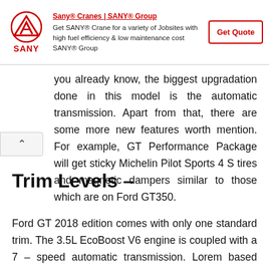[Figure (infographic): SANY Crane advertisement banner with SANY logo (red triangle with A shape), text about getting SANY Crane for variety of Jobsites with high fuel efficiency and low maintenance cost, and a Get Quote button]
you already know, the biggest upgradation done in this model is the automatic transmission. Apart from that, there are some more new features worth mention. For example, GT Performance Package will get sticky Michelin Pilot Sports 4 S tires and magnetic dampers similar to those which are on Ford GT350.
Trim Levels –
Ford GT 2018 edition comes with only one standard trim. The 3.5L EcoBoost V6 engine is coupled with a 7 – speed automatic transmission. Lorem text continues with more about Ford...